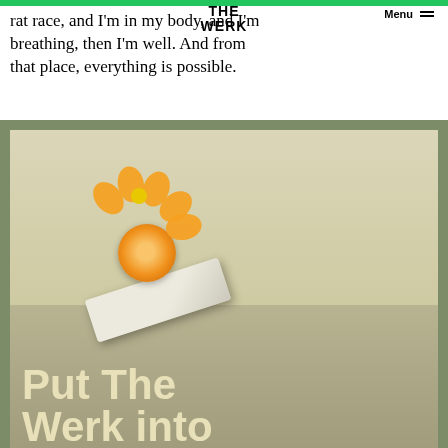rat race, and I'm in my body, and I'm breathing, then I'm well. And from that place, everything is possible.
THE WERK
Menu
[Figure (photo): Photo of a stacked arrangement: a hand balancing a white stone/brick with an orange slice and jewelry on top, crowned with an orange flower. Text overlay reads 'Put The Werk into' in large cream bold font on a sage green background.]